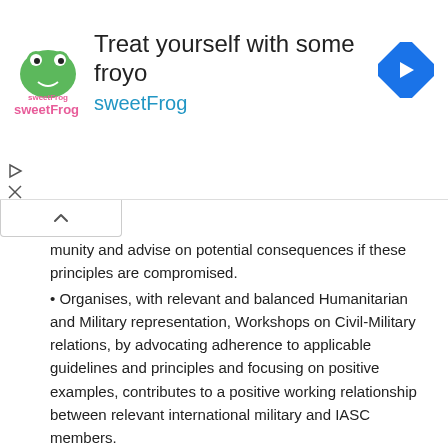[Figure (advertisement): sweetFrog frozen yogurt advertisement banner with logo, headline 'Treat yourself with some froyo', and navigation arrow icon]
munity and advise on potential consequences if these principles are compromised.
• Organises, with relevant and balanced Humanitarian and Military representation, Workshops on Civil-Military relations, by advocating adherence to applicable guidelines and principles and focusing on positive examples, contributes to a positive working relationship between relevant international military and IASC members.
• Can act as an advocate for the promulgation of UN-CMCoord concepts, principles and activities, the promotion and protection of humanitarian principles and the dissemination of UN-CMCoord related guidelines.

Establish and maintain UN-CMCoord Network: